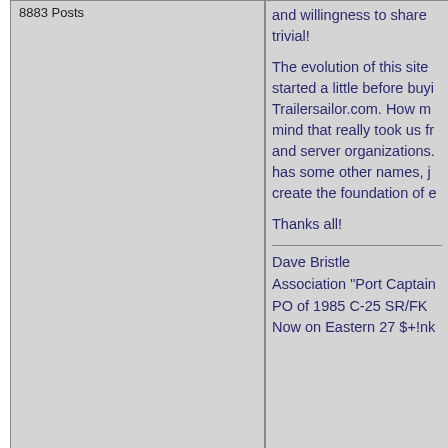8883 Posts
and willingness to share trivial!

The evolution of this site started a little before buying Trailersailor.com. How many mind that really took us from and server organizations has some other names, just create the foundation of e

Thanks all!

Dave Bristle
Association "Port Captain"
PO of 1985 C-25 SR/FK
Now on Eastern 27 $+!nk
New Topic   Reply to Topic
Printer Friendly
Association Forum
Notice: The advice given on this site is based upon individual. The Officers, Staff and members of this site only provide information does so at their own risk and holds harmless